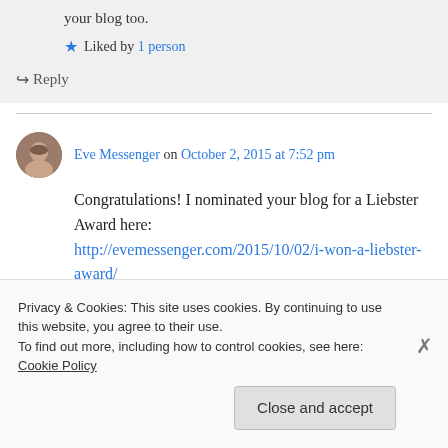your blog too.
Liked by 1 person
Reply
Eve Messenger on October 2, 2015 at 7:52 pm
Congratulations! I nominated your blog for a Liebster Award here: http://evemessenger.com/2015/10/02/i-won-a-liebster-award/
Privacy & Cookies: This site uses cookies. By continuing to use this website, you agree to their use.
To find out more, including how to control cookies, see here: Cookie Policy
Close and accept